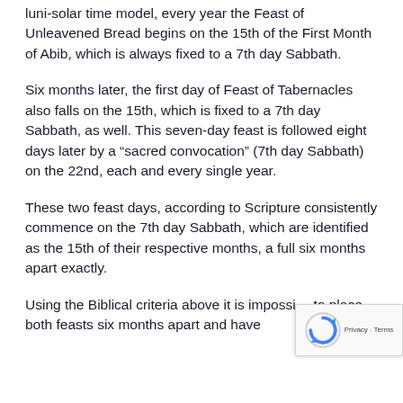luni-solar time model, every year the Feast of Unleavened Bread begins on the 15th of the First Month of Abib, which is always fixed to a 7th day Sabbath.
Six months later, the first day of Feast of Tabernacles also falls on the 15th, which is fixed to a 7th day Sabbath, as well. This seven-day feast is followed eight days later by a “sacred convocation” (7th day Sabbath) on the 22nd, each and every single year.
These two feast days, according to Scripture consistently commence on the 7th day Sabbath, which are identified as the 15th of their respective months, a full six months apart exactly.
Using the Biblical criteria above it is impossi… to place both feasts six months apart and have